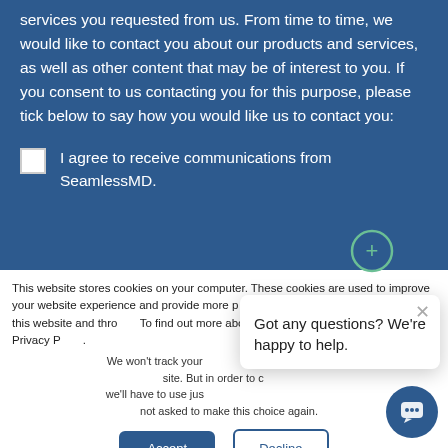services you requested from us. From time to time, we would like to contact you about our products and services, as well as other content that may be of interest to you. If you consent to us contacting you for this purpose, please tick below to say how you would like us to contact you:
I agree to receive communications from SeamlessMD.
This website stores cookies on your computer. These cookies are used to improve your website experience and provide more personalized services to you, both on this website and through other media. To find out more about the cookies we use, see our Privacy Policy.
We won't track your information when you visit our site. But in order to comply with your preferences, we'll have to use just one tiny cookie so that you're not asked to make this choice again.
Got any questions? We're happy to help.
Accept
Decline